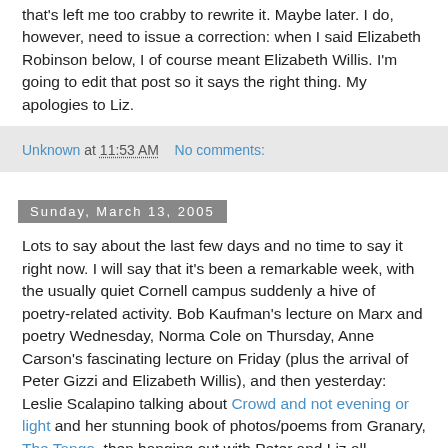that's left me too crabby to rewrite it. Maybe later. I do, however, need to issue a correction: when I said Elizabeth Robinson below, I of course meant Elizabeth Willis. I'm going to edit that post so it says the right thing. My apologies to Liz.
Unknown at 11:53 AM   No comments:
Sunday, March 13, 2005
Lots to say about the last few days and no time to say it right now. I will say that it's been a remarkable week, with the usually quiet Cornell campus suddenly a hive of poetry-related activity. Bob Kaufman's lecture on Marx and poetry Wednesday, Norma Cole on Thursday, Anne Carson's fascinating lecture on Friday (plus the arrival of Peter Gizzi and Elizabeth Willis), and then yesterday: Leslie Scalapino talking about Crowd and not evening or light and her stunning book of photos/poems from Granary, The Tango, then hanging out with Peter and Liz all afternoon, then their amazing reading at the gallery that evening (to a record crowd of 53 people -- we need to invest in some chairs!)